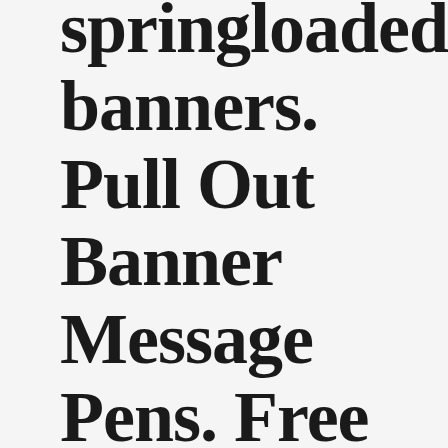springloaded banners. Pull Out Banner Message Pens. Free shipping to USA, West Euro, Australia.